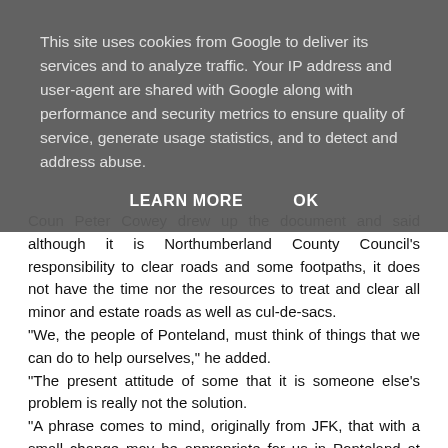This site uses cookies from Google to deliver its services and to analyze traffic. Your IP address and user-agent are shared with Google along with performance and security metrics to ensure quality of service, generate usage statistics, and to detect and address abuse.
LEARN MORE    OK
Coun Peter Cowey drew up the document and said although it is Northumberland County Council's responsibility to clear roads and some footpaths, it does not have the time nor the resources to treat and clear all minor and estate roads as well as cul-de-sacs.
"We, the people of Ponteland, must think of things that we can do to help ourselves," he added.
"The present attitude of some that it is someone else's problem is really not the solution.
"A phrase comes to mind, originally from JFK, that with a small change may be appropriate for us in Ponteland at this time – 'think not what NCC can do for Ponteland but what we can do ourselves for Ponteland'."
The measures include the following: